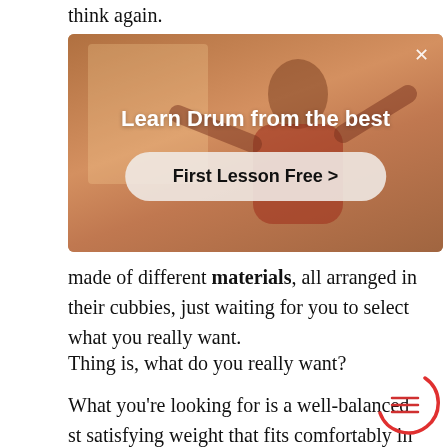think again.
[Figure (screenshot): Advertisement banner for drum lessons showing a person playing drums in a warm-lit room. Text overlay reads 'Learn Drum from the best' with a button 'First Lesson Free >' and a close (×) button in the top right corner.]
made of different materials, all arranged in their cubbies, just waiting for you to select what you really want.
Thing is, what do you really want?
What you're looking for is a well-balanced st satisfying weight that fits comfortably in you one that will articulate well on your drum set and